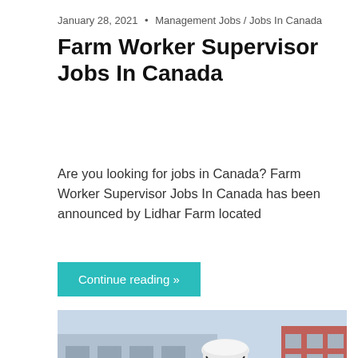January 28, 2021 • Management Jobs / Jobs In Canada
Farm Worker Supervisor Jobs In Canada
Are you looking for jobs in Canada? Farm Worker Supervisor Jobs In Canada has been announced by Lidhar Farm located
Continue reading »
[Figure (photo): Man in white hard hat and yellow safety vest standing in front of buildings, with overlay text reading 'Construction Project']